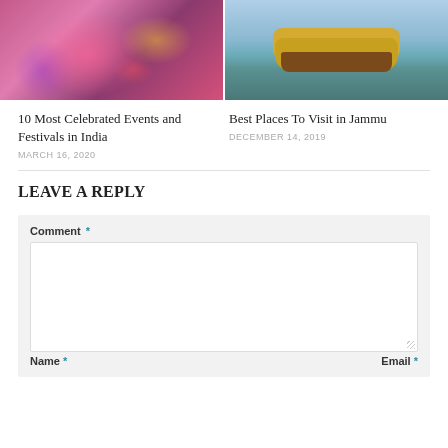[Figure (photo): Woman in pink/magenta sari celebrating Holi festival with colorful powder]
[Figure (photo): Shikara boat with yellow canopy on a calm lake in Jammu region]
10 Most Celebrated Events and Festivals in India
MARCH 16, 2020
Best Places To Visit in Jammu
DECEMBER 14, 2019
LEAVE A REPLY
Comment *